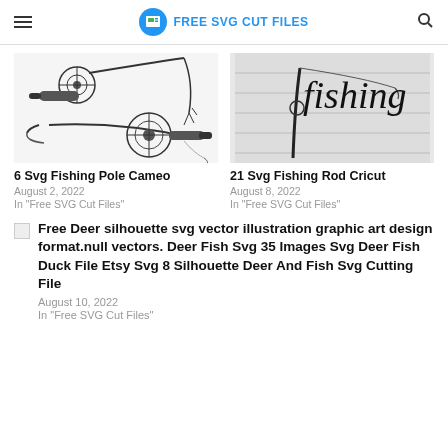FREE SVG CUT FILES
[Figure (illustration): Two fishing poles/reels illustration SVG]
6 Svg Fishing Pole Cameo
August 2, 2022
In "Free SVG Cut Files"
[Figure (illustration): Fishing rod with cursive 'fishing' text SVG]
21 Svg Fishing Rod Cricut
August 8, 2022
In "Free SVG Cut Files"
[Figure (illustration): Broken image icon for Free Deer silhouette svg]
Free Deer silhouette svg vector illustration graphic art design format.null vectors. Deer Fish Svg 35 Images Svg Deer Fish Duck File Etsy Svg 8 Silhouette Deer And Fish Svg Cutting File
August 10, 2022
In "Free SVG Cut Files"